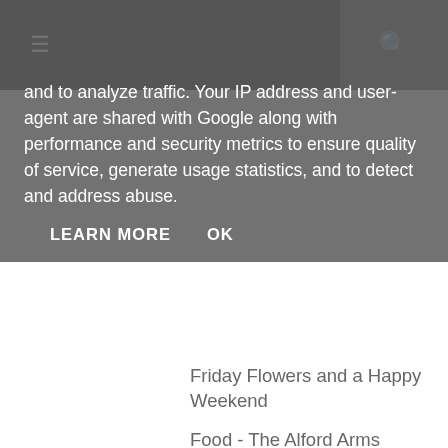☰  🔍
and to analyze traffic. Your IP address and user-agent are shared with Google along with performance and security metrics to ensure quality of service, generate usage statistics, and to detect and address abuse.
LEARN MORE   OK
Friday Flowers and a Happy Weekend
Food - The Alford Arms
Thursday Day Out - Wimbledon
Wedding - Dried Rose Petals and Doily Confetti Con...
Travel - A birthday trip to Paris